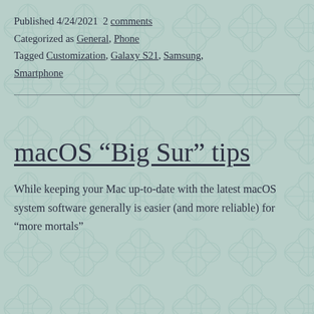Published 4/24/2021  2 comments
Categorized as General, Phone
Tagged Customization, Galaxy S21, Samsung, Smartphone
macOS “Big Sur” tips
While keeping your Mac up-to-date with the latest macOS system software generally is easier (and more reliable) for “more mortals”